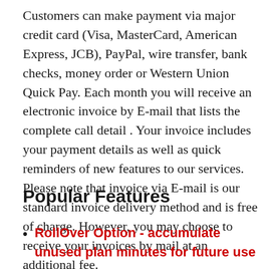Customers can make payment via major credit card (Visa, MasterCard, American Express, JCB), PayPal, wire transfer, bank checks, money order or Western Union Quick Pay. Each month you will receive an electronic invoice by E-mail that lists the complete call detail . Your invoice includes your payment details as well as quick reminders of new features to our services. Please note that invoice via E-mail is our standard invoice delivery method and is free of charge. However, you may choose to receive your invoices by mail at an additional fee.
Popular Features
RollOver Option - accumulate unused plan minutes for future use